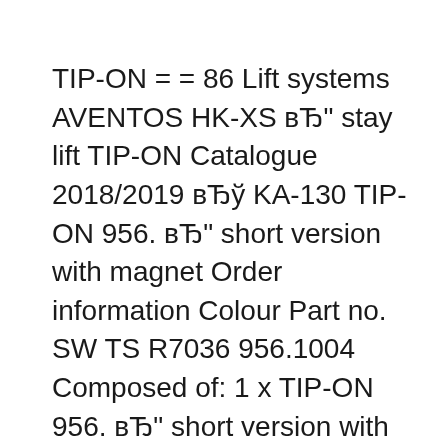TIP-ON = = 86 Lift systems AVENTOS HK-XS вЂ" stay lift TIP-ON Catalogue 2018/2019 вЂў KA-130 TIP-ON 956. вЂ" short version with magnet Order information Colour Part no. SW TS R7036 956.1004 Composed of: 1 x TIP-ON 956. вЂ" short version with magnet 1 x Screw-on catch plate 1 x Glue-on catch plate SW Silk white TS Terra black R7036 RAL 7036 platinum grey Planning Screw-on catch plate Screw AVENTOS HK Cabinet doors pivot up . AVENTOS HK cabinet doors lift up from the bottom, and swing up and out of the way. They stay wherever you stop the cabinet door, making them best for